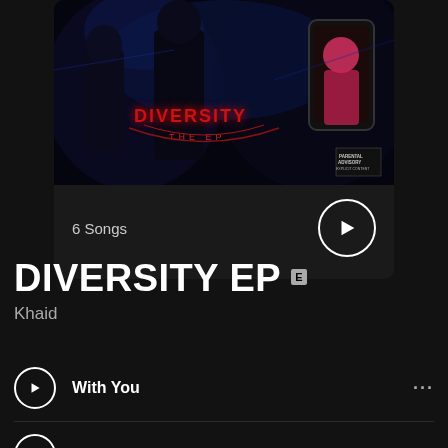[Figure (screenshot): Album art for DIVERSITY EP by Khaid - dark concert/crowd scene with neon blue lighting, phone in foreground showing a person in pink, DIVERSITY THE EP text in red, Parental Advisory label]
6 Songs
DIVERSITY EP E
Khaid
With You
SKI